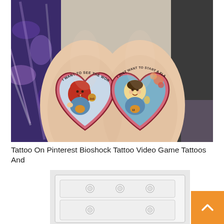[Figure (photo): Two arms side by side showing matching couple tattoos. Left arm has a heart-shaped tattoo with a red-haired female character (resembling a Fallout-style figure) holding a hamburger, with text 'I WANT TO SEE THE WORLD ON FIRE' arched above. Right arm has a matching heart-shaped tattoo with a male Vault Boy character, with text 'I JUST WANT TO START A FLAME IN YOUR HEART' arched above. Background shows colorful patterned clothing on the left and dark clothing on the right.]
Tattoo On Pinterest Bioshock Tattoo Video Game Tattoos And
[Figure (photo): Partial image of a white piece of furniture (dresser or cabinet) with circular drawer pulls, shown cropped at the bottom of the page.]